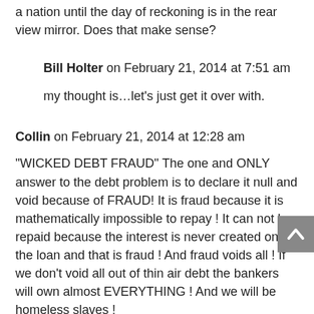a nation until the day of reckoning is in the rear view mirror. Does that make sense?
Bill Holter on February 21, 2014 at 7:51 am
my thought is…let's just get it over with.
Collin on February 21, 2014 at 12:28 am
“WICKED DEBT FRAUD” The one and ONLY answer to the debt problem is to declare it null and void because of FRAUD! It is fraud because it is mathematically impossible to repay ! It can not be repaid because the interest is never created on the loan and that is fraud ! And fraud voids all ! If we don’t void all out of thin air debt the bankers will own almost EVERYTHING ! And we will be homeless slaves !